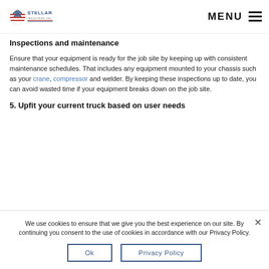Stellar Industries Inc. — MENU
Inspections and maintenance
Ensure that your equipment is ready for the job site by keeping up with consistent maintenance schedules. That includes any equipment mounted to your chassis such as your crane, compressor and welder. By keeping these inspections up to date, you can avoid wasted time if your equipment breaks down on the job site.
5. Upfit your current truck based on user needs
We use cookies to ensure that we give you the best experience on our site. By continuing you consent to the use of cookies in accordance with our Privacy Policy.